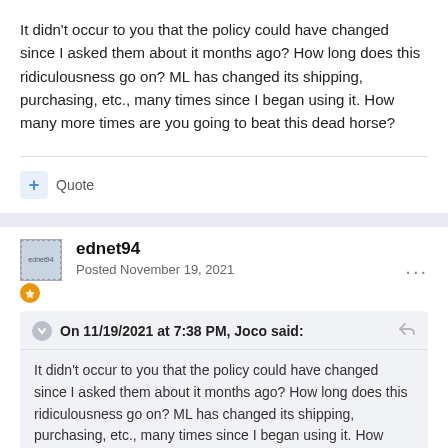It didn't occur to you that the policy could have changed since I asked them about it months ago? How long does this ridiculousness go on? ML has changed its shipping, purchasing, etc., many times since I began using it. How many more times are you going to beat this dead horse?
+ Quote
ednet94
Posted November 19, 2021
On 11/19/2021 at 7:38 PM, Joco said:
It didn't occur to you that the policy could have changed since I asked them about it months ago? How long does this ridiculousness go on? ML has changed its shipping, purchasing, etc., many times since I began using it. How